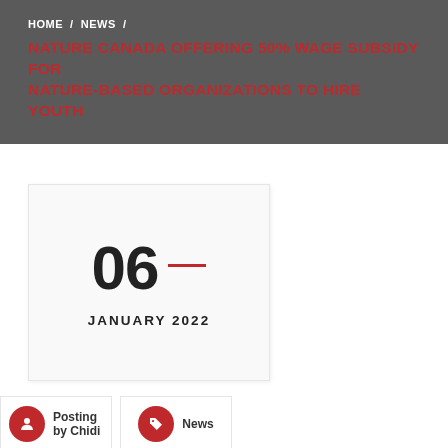HOME / NEWS /
NATURE CANADA OFFERING 50% WAGE SUBSIDY FOR NATURE-BASED ORGANIZATIONS TO HIRE YOUTH
06 — JANUARY 2022
Posting by Chidi
News